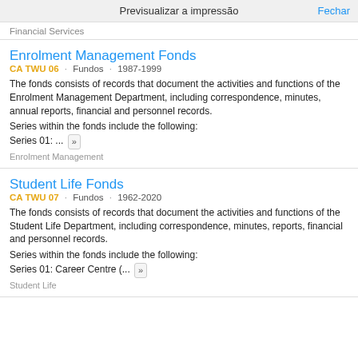Previsualizar a impressão   Fechar
Financial Services
Enrolment Management Fonds
CA TWU 06 · Fundos · 1987-1999
The fonds consists of records that document the activities and functions of the Enrolment Management Department, including correspondence, minutes, annual reports, financial and personnel records.
Series within the fonds include the following:
Series 01: ... »
Enrolment Management
Student Life Fonds
CA TWU 07 · Fundos · 1962-2020
The fonds consists of records that document the activities and functions of the Student Life Department, including correspondence, minutes, reports, financial and personnel records.
Series within the fonds include the following:
Series 01: Career Centre (... »
Student Life